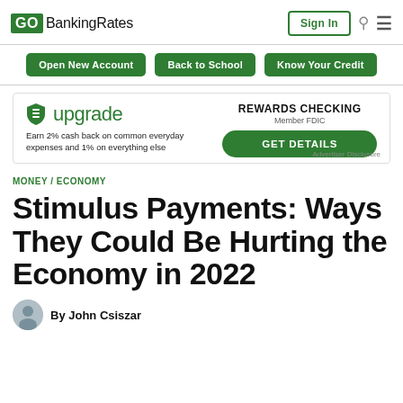GOBankingRates | Sign In
Open New Account | Back to School | Know Your Credit
[Figure (infographic): Upgrade bank advertisement: Rewards Checking, Member FDIC, Earn 2% cash back on common everyday expenses and 1% on everything else. GET DETAILS button. Advertiser Disclosure.]
MONEY / ECONOMY
Stimulus Payments: Ways They Could Be Hurting the Economy in 2022
By John Csiszar